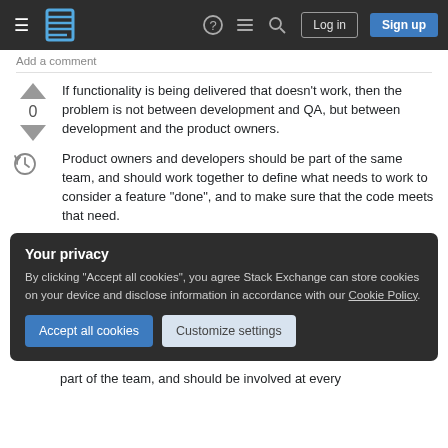Stack Exchange navigation bar with Log in and Sign up buttons
Add a comment
If functionality is being delivered that doesn't work, then the problem is not between development and QA, but between development and the product owners.
Product owners and developers should be part of the same team, and should work together to define what needs to work to consider a feature "done", and to make sure that the code meets that need.
Your privacy
By clicking "Accept all cookies", you agree Stack Exchange can store cookies on your device and disclose information in accordance with our Cookie Policy.
part of the team, and should be involved at every